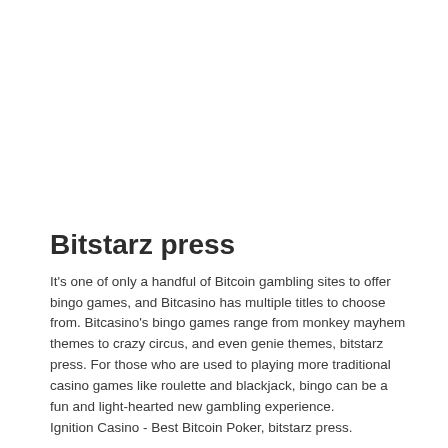Bitstarz press
It's one of only a handful of Bitcoin gambling sites to offer bingo games, and Bitcasino has multiple titles to choose from. Bitcasino's bingo games range from monkey mayhem themes to crazy circus, and even genie themes, bitstarz press. For those who are used to playing more traditional casino games like roulette and blackjack, bingo can be a fun and light-hearted new gambling experience.
Ignition Casino - Best Bitcoin Poker, bitstarz press.